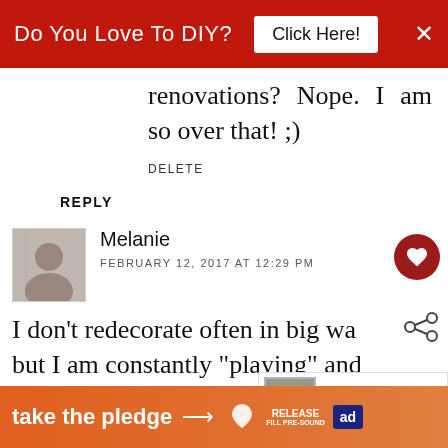[Figure (screenshot): Red advertisement banner at top: 'Do You Love To DIY?' with 'Click Here!' button and X close button]
renovations? Nope. I am so over that! ;)
DELETE
REPLY
[Figure (photo): Small circular/square avatar photo of Melanie, a woman with glasses]
Melanie
FEBRUARY 12, 2017 AT 12:29 PM
I don't redecorate often in big wa... but I am constantly "playing" and tweaking decor because... relaxing yet challenging at the same time. I get a utilization of the same...
[Figure (screenshot): Bottom orange advertisement banner: 'take the pledge →' with RELEASE and ed logos]
[Figure (screenshot): WHAT'S NEXT → Redecorating.... overlay widget on right side]